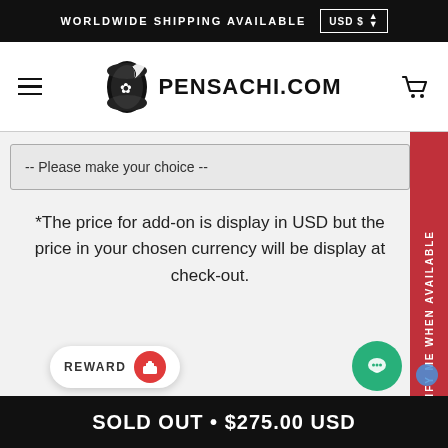WORLDWIDE SHIPPING AVAILABLE   USD $
[Figure (logo): Pensachi.com logo with scroll icon and text PENSACHI.COM]
-- Please make your choice --
*The price for add-on is display in USD but the price in your chosen currency will be display at check-out.
NOTIFY ME WHEN AVAILABLE
REWARD
SOLD OUT • $275.00 USD